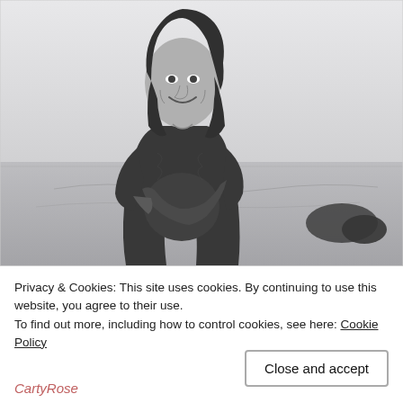[Figure (photo): Black and white photo of a smiling pregnant woman standing outdoors near a body of water, wearing a dark lace dress, cradling her baby bump with one hand. Rocks visible in the background on the right.]
Privacy & Cookies: This site uses cookies. By continuing to use this website, you agree to their use.
To find out more, including how to control cookies, see here: Cookie Policy
Close and accept
CartyRose